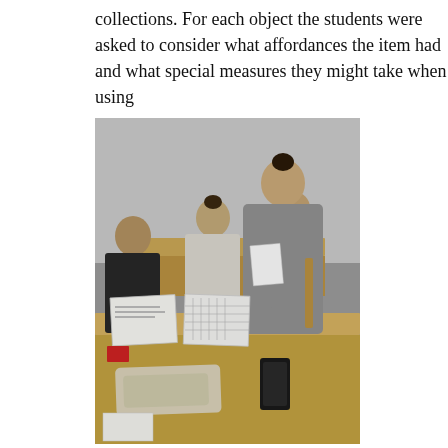collections. For each object the students were asked to consider what affordances the item had and what special measures they might take when using
[Figure (photo): Photograph of students in a classroom standing around tables examining objects. In the foreground, a table holds papers, a phone, and a folded cloth item. A woman in a grey cardigan is in the center-right, reading a paper. Other students are visible in the background.]